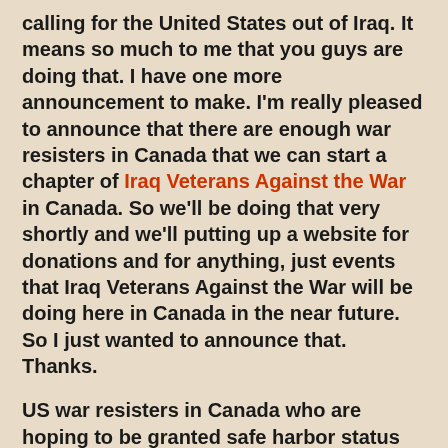calling for the United States out of Iraq. It means so much to me that you guys are doing that. I have one more announcement to make. I'm really pleased to announce that there are enough war resisters in Canada that we can start a chapter of Iraq Veterans Against the War in Canada. So we'll be doing that very shortly and we'll putting up a website for donations and for anything, just events that Iraq Veterans Against the War will be doing here in Canada in the near future. So I just wanted to announce that. Thanks.
US war resisters in Canada who are hoping to be granted safe harbor status and the Canadian Parliament will debate a measure this month on that issue. You can make your voice heard. Three e-mails addresses to focus on are: Prime Minister Stephen Harper (http://us.f366.mail.yahoo.com/ym/Compose?To=pm@pm.gc.ca -- that's pm at gc.ca) who is with the Conservative party and these two Liberals, Stephane Dion (http://us.f366.mail.yahoo.com/ym/Compose?To=Dion.S@parl.gc.ca -- that's Dion.S at parl.gc.ca) who is the leader of the Liberal Party and Maurizio